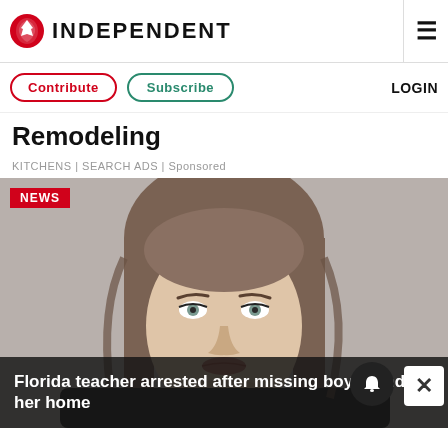INDEPENDENT
Contribute  Subscribe  LOGIN
Remodeling
KITCHENS | SEARCH ADS | Sponsored
[Figure (photo): Mugshot of a woman with long brown hair and light eyes, facing forward against a grey background. A red NEWS badge appears in the top left. An overlay at the bottom reads: Florida teacher arrested after missing boy found in her home.]
Florida teacher arrested after missing boy found in her home